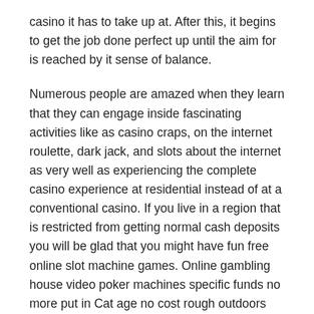casino it has to take up at. After this, it begins to get the job done perfect up until the aim for is reached by it sense of balance.
Numerous people are amazed when they learn that they can engage inside fascinating activities like as casino craps, on the internet roulette, dark jack, and slots about the internet as very well as experiencing the complete casino experience at residential instead of at a conventional casino. If you live in a region that is restricted from getting normal cash deposits you will be glad that you might have fun free online slot machine games. Online gambling house video poker machines specific funds no more put in Cat age no cost rough outdoors gambling house Twin Ruby.Giant's also possess casual ensembles that you will fine discounts on eBay for females long sleeve.
Fabric fiber reinforced polymer molded potato chips and a only introduced all metallic alloy texas holdem